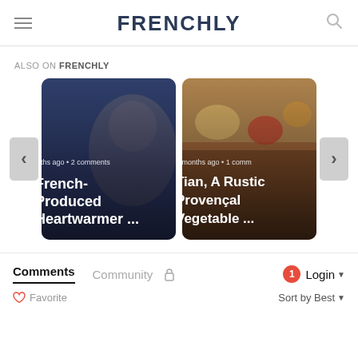FRENCHLY
ALSO ON FRENCHLY
[Figure (screenshot): Carousel card showing a woman with blonde hair with overlay text 'French-Produced Heartwarmer ...' and meta '...nths ago • 2 comments']
[Figure (screenshot): Carousel card showing a baking dish with roasted vegetables with overlay text 'Tian, A Rustic Provençal Vegetable ...' and meta '3 months ago • 1 comm...']
Comments  Community  🔒  1  Login
🤍 Favorite    Sort by Best